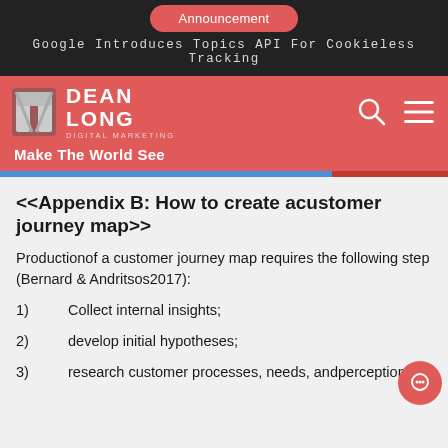Announcement
Google Introduces Topics API For Cookieless Tracking
[Figure (logo): Dean Long Digital Marketing logo - white stylized N icon with DEAN LONG text and DIGITAL MARKETING subtitle]
Make The World See
<<Appendix B: How to create acustomer journey map>>
Productionof a customer journey map requires the following step (Bernard & Andritsos2017):
1)        Collect internal insights;
2)        develop initial hypotheses;
3)        research customer processes, needs, andperceptions;